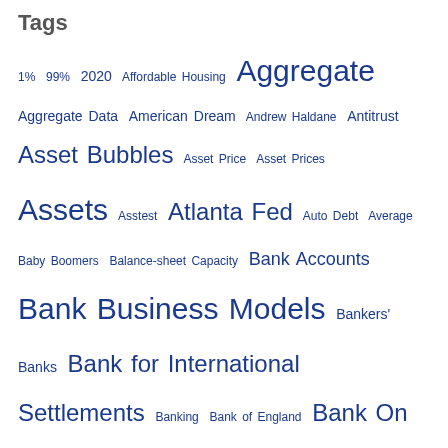Tags
1% 99% 2020 Affordable Housing Aggregate Aggregate Data American Dream Andrew Haldane Antitrust Asset Bubbles Asset Price Asset Prices Assets Asstest Atlanta Fed Auto Debt Average Baby Boomers Balance-sheet Capacity Bank Accounts Bank Business Models Bankers' Banks Bank for International Settlements Banking Bank of England Bank On Banks Basel III Bernanke Biden Big Banks Big Tech BioBonds Biparisan BIS BIS Staff Paper Blindness Brainard Bubble Bureau of Labor Statistics Capital Rules CARES Act Cash Causality Causation CBDC CCAR CECL Census Bureau Central Bank Central Bank Digital Currency Central Banks CFPB Charter China Cleveland Fed Community Reinvestment Act (CRA) Compensation Concentration Congress Congressional Research Service